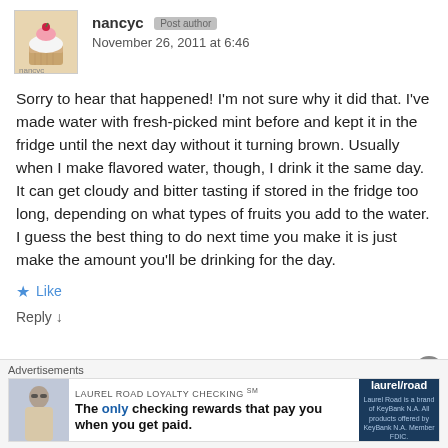nancyc  November 26, 2011 at 6:46
Sorry to hear that happened! I'm not sure why it did that. I've made water with fresh-picked mint before and kept it in the fridge until the next day without it turning brown. Usually when I make flavored water, though, I drink it the same day. It can get cloudy and bitter tasting if stored in the fridge too long, depending on what types of fruits you add to the water. I guess the best thing to do next time you make it is just make the amount you'll be drinking for the day.
★ Like
Reply ↓
Advertisements
LAUREL ROAD LOYALTY CHECKING℠  The only checking rewards that pay you when you get paid.